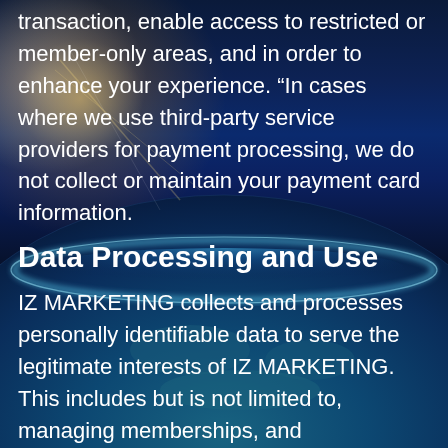transaction, enable access to restricted or member-only areas, and in order to enhance your experience. “In cases where we use third-party service providers for payment processing, we do not collect or maintain your payment card information.
Data Processing and Use
IZ MARKETING collects and processes personally identifiable data to serve the legitimate interests of IZ MARKETING. This includes but is not limited to, managing memberships, and subscriptions; delivery of products and services; sending electronic